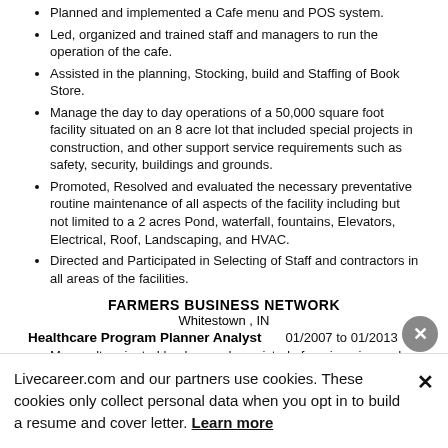Planned and implemented a Cafe menu and POS system.
Led, organized and trained staff and managers to run the operation of the cafe.
Assisted in the planning, Stocking, build and Staffing of Book Store.
Manage the day to day operations of a 50,000 square foot facility situated on an 8 acre lot that included special projects in construction, and other support service requirements such as safety, security, buildings and grounds.
Promoted, Resolved and evaluated the necessary preventative routine maintenance of all aspects of the facility including but not limited to a 2 acres Pond, waterfall, fountains, Elevators, Electrical, Roof, Landscaping, and HVAC.
Directed and Participated in Selecting of Staff and contractors in all areas of the facilities.
FARMERS BUSINESS NETWORK
Whitestown , IN
Healthcare Program Planner Analyst    01/2007 to 01/2013
My results oriented background consisted of engineering and physical plant responsibilities in Healthcare that operated on a 7-day/24 hour per day basis and included shift coverage.
I have reported directly to Vice Presidents, Directors, Supervisors, and Chief Engineers.
Livecareer.com and our partners use cookies. These cookies only collect personal data when you opt in to build a resume and cover letter. Learn more